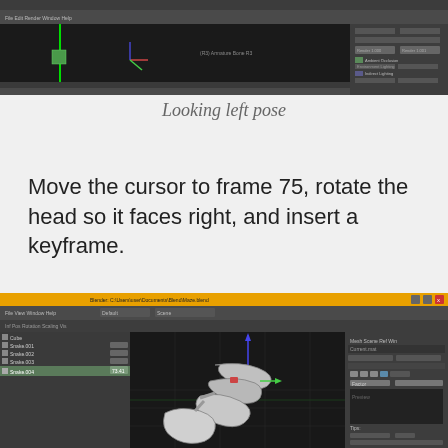[Figure (screenshot): Blender 3D software screenshot showing a 3D head model looking left in a dark viewport with toolbars and properties panel on the right]
Looking left pose
Move the cursor to frame 75, rotate the head so it faces right, and insert a keyframe.
[Figure (screenshot): Blender 3D software screenshot showing a snake-like or curved 3D object in a dark viewport, with a yellow title bar at top showing Blender file path, left panel with object list, and properties on the right]